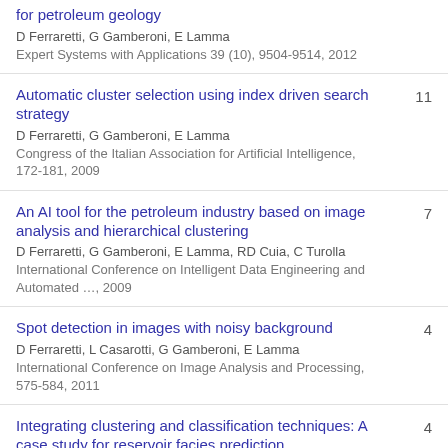for petroleum geology
D Ferraretti, G Gamberoni, E Lamma
Expert Systems with Applications 39 (10), 9504-9514, 2012
Automatic cluster selection using index driven search strategy
D Ferraretti, G Gamberoni, E Lamma
Congress of the Italian Association for Artificial Intelligence, 172-181, 2009
11
An AI tool for the petroleum industry based on image analysis and hierarchical clustering
D Ferraretti, G Gamberoni, E Lamma, RD Cuia, C Turolla
International Conference on Intelligent Data Engineering and Automated ..., 2009
7
Spot detection in images with noisy background
D Ferraretti, L Casarotti, G Gamberoni, E Lamma
International Conference on Image Analysis and Processing, 575-584, 2011
4
Integrating clustering and classification techniques: A case study for reservoir facies prediction
4